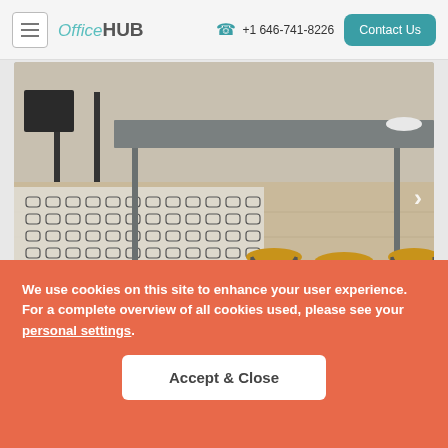OfficeHUB   +1 646-741-8226   Contact Us
[Figure (photo): Interior photo of a modern office/coworking space showing a gray table with yellow stools on a light wood floor with a geometric black and white rug. Carousel with navigation arrow and dot indicators.]
We use cookies on this site to enhance your user experience. For a complete overview of all cookies used, please see your personal settings.
Accept & Close